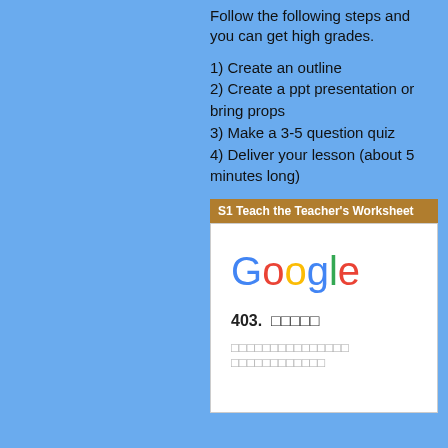Follow the following steps and you can get high grades.
1) Create an outline
2) Create a ppt presentation or bring props
3) Make a 3-5 question quiz
4) Deliver your lesson (about 5 minutes long)
S1 Teach the Teacher's Worksheet
[Figure (screenshot): Screenshot of a Google 403 error page showing the Google logo and error text]